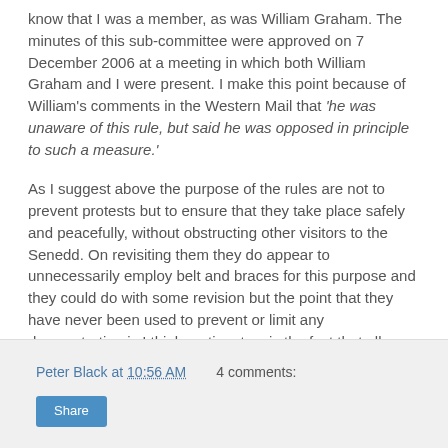know that I was a member, as was William Graham. The minutes of this sub-committee were approved on 7 December 2006 at a meeting in which both William Graham and I were present. I make this point because of William's comments in the Western Mail that 'he was unaware of this rule, but said he was opposed in principle to such a measure.'
As I suggest above the purpose of the rules are not to prevent protests but to ensure that they take place safely and peacefully, without obstructing other visitors to the Senedd. On revisiting them they do appear to unnecessarily employ belt and braces for this purpose and they could do with some revision but the point that they have never been used to prevent or limit any demonstration is I think pertinent as is the fact that all concerned apply them pragmatically and sensitively.
Peter Black at 10:56 AM   4 comments:   Share